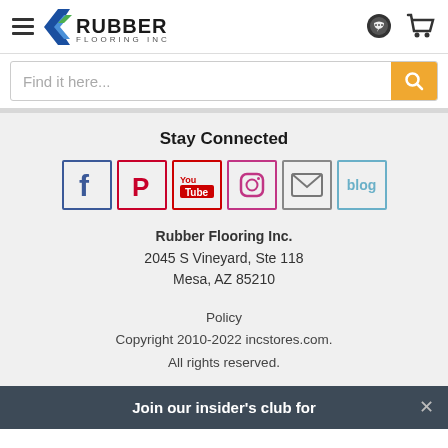[Figure (logo): Rubber Flooring Inc. logo with navigation hamburger menu and cart/chat icons]
Find it here...
Stay Connected
[Figure (infographic): Social media icons: Facebook, Pinterest, YouTube, Instagram, Email, Blog]
Rubber Flooring Inc.
2045 S Vineyard, Ste 118
Mesa, AZ 85210
Policy
Copyright 2010-2022 incstores.com.
All rights reserved.
Join our insider's club for